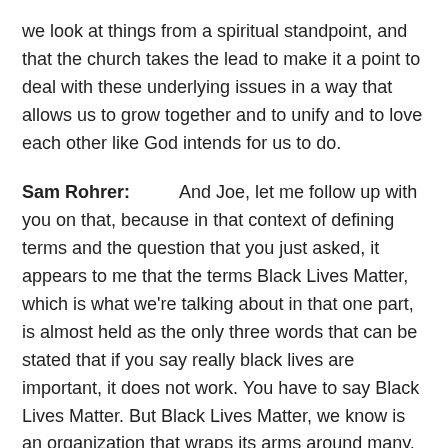we look at things from a spiritual standpoint, and that the church takes the lead to make it a point to deal with these underlying issues in a way that allows us to grow together and to unify and to love each other like God intends for us to do.
Sam Rohrer:          And Joe, let me follow up with you on that, because in that context of defining terms and the question that you just asked, it appears to me that the terms Black Lives Matter, which is what we're talking about in that one part, is almost held as the only three words that can be stated that if you say really black lives are important, it does not work. You have to say Black Lives Matter. But Black Lives Matter, we know is an organization that wraps its arms around many, many, many things, obviously that